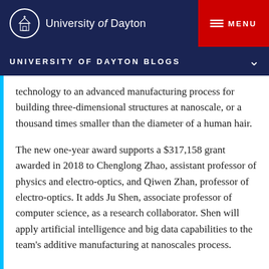University of Dayton
UNIVERSITY OF DAYTON BLOGS
technology to an advanced manufacturing process for building three-dimensional structures at nanoscale, or a thousand times smaller than the diameter of a human hair.
The new one-year award supports a $317,158 grant awarded in 2018 to Chenglong Zhao, assistant professor of physics and electro-optics, and Qiwen Zhan, professor of electro-optics. It adds Ju Shen, associate professor of computer science, as a research collaborator. Shen will apply artificial intelligence and big data capabilities to the team's additive manufacturing at nanoscales process.